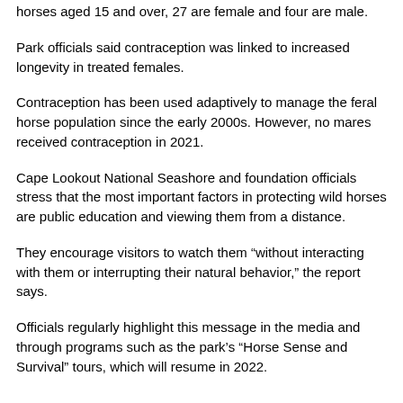horses aged 15 and over, 27 are female and four are male.
Park officials said contraception was linked to increased longevity in treated females.
Contraception has been used adaptively to manage the feral horse population since the early 2000s. However, no mares received contraception in 2021.
Cape Lookout National Seashore and foundation officials stress that the most important factors in protecting wild horses are public education and viewing them from a distance.
They encourage visitors to watch them “without interacting with them or interrupting their natural behavior,” the report says.
Officials regularly highlight this message in the media and through programs such as the park’s “Horse Sense and Survival” tours, which will resume in 2022.